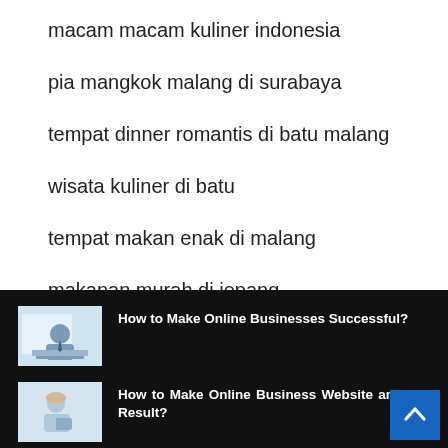macam macam kuliner indonesia
pia mangkok malang di surabaya
tempat dinner romantis di batu malang
wisata kuliner di batu
tempat makan enak di malang
makanan murah di jepang
[Figure (screenshot): Dark footer section with two related article entries, each with a thumbnail image and bold white title text. Article 1: 'How to Make Online Businesses Successful?' Article 2: 'How to Make Online Business Website and Get Result?' A blue scroll-to-top button appears bottom right.]